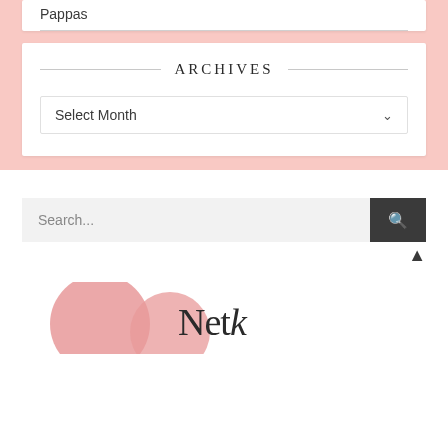Pappas
ARCHIVES
Select Month
Search...
[Figure (logo): Partial website logo with pink circles and serif text starting with 'Net']